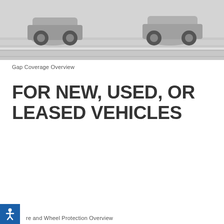[Figure (photo): Top portion of a car (wheels and underside visible) driving on a road, gray toned image cropped at top of page]
Gap Coverage Overview
FOR NEW, USED, OR LEASED VEHICLES
[Figure (photo): White Buick SUV driving on a road with mountains and open landscape in the background, with a video play button overlay in the center]
re and Wheel Protection Overview